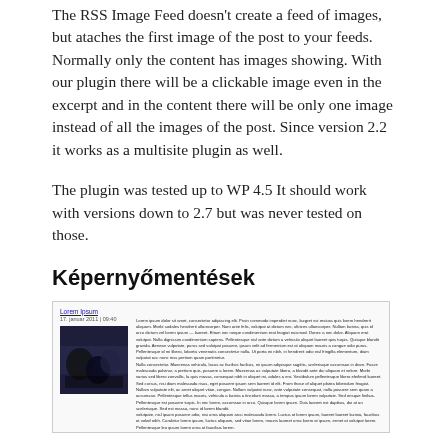The RSS Image Feed doesn't create a feed of images, but ataches the first image of the post to your feeds. Normally only the content has images showing. With our plugin there will be a clickable image even in the excerpt and in the content there will be only one image instead of all the images of the post. Since version 2.2 it works as a multisite plugin as well.
The plugin was tested up to WP 4.5 It should work with versions down to 2.7 but was never tested on those.
Képernyőmentések
[Figure (screenshot): Screenshot of a blog post page showing a dark photograph on the left and Lorem Ipsum placeholder text on the right, with a link and date at the top.]